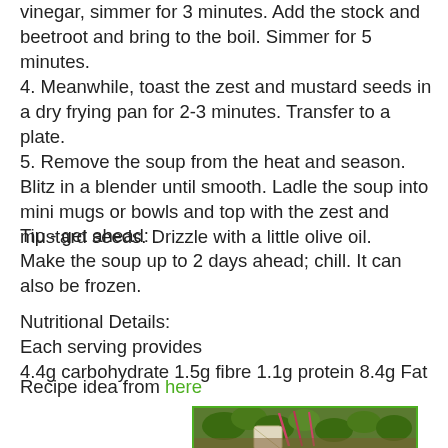vinegar, simmer for 3 minutes. Add the stock and beetroot and bring to the boil. Simmer for 5 minutes.
4. Meanwhile, toast the zest and mustard seeds in a dry frying pan for 2-3 minutes. Transfer to a plate.
5. Remove the soup from the heat and season. Blitz in a blender until smooth. Ladle the soup into mini mugs or bowls and top with the zest and mustard seeds. Drizzle with a little olive oil.
Tip - get ahead:
Make the soup up to 2 days ahead; chill. It can also be frozen.
Nutritional Details:
Each serving provides
4.4g carbohydrate 1.5g fibre 1.1g protein 8.4g Fat
Recipe idea from here
[Figure (photo): Photo of leafy green vegetables, including beetroot leaves with pink/red stems, in a garden basket on soil]